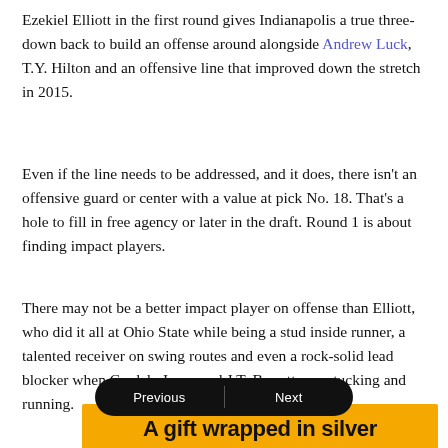Ezekiel Elliott in the first round gives Indianapolis a true three-down back to build an offense around alongside Andrew Luck, T.Y. Hilton and an offensive line that improved down the stretch in 2015.
Even if the line needs to be addressed, and it does, there isn't an offensive guard or center with a value at pick No. 18. That's a hole to fill in free agency or later in the draft. Round 1 is about finding impact players.
There may not be a better impact player on offense than Elliott, who did it all at Ohio State while being a stud inside runner, a talented receiver on swing routes and even a rock-solid lead blocker when Cardale Jones and J.T. Barrett were tucking and running.
[Figure (other): Navigation bar with Previous and Next buttons, and a yellow promotional banner reading 'A gift wrapped in silver']